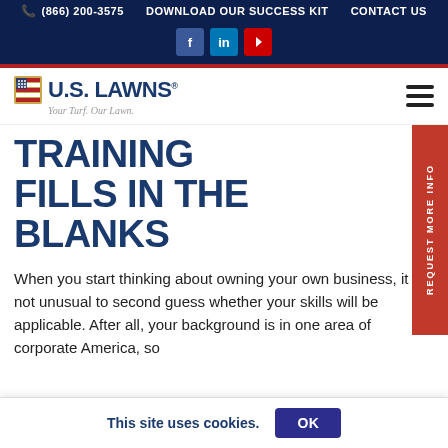(866) 200-3575  DOWNLOAD OUR SUCCESS KIT  CONTACT US
[Figure (logo): U.S. Lawns logo with American flag icon and tagline 'Your Turf. Our Lawn.']
TRAINING FILLS IN THE BLANKS
When you start thinking about owning your own business, it is not unusual to second guess whether your skills will be applicable. After all, your background is in one area of corporate America, so